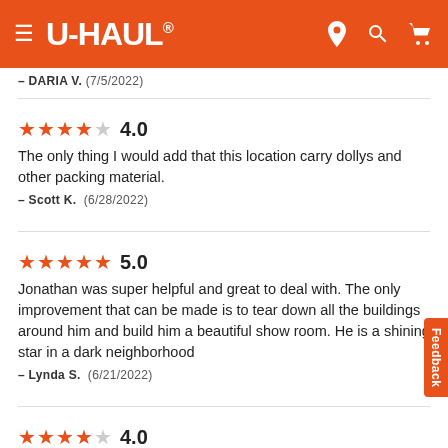U-HAUL
— DARIA V.  (7/5/2022)
[Figure (other): 4.0 star rating with 4 filled orange stars and 1 empty star]
The only thing I would add that this location carry dollys and other packing material.
— Scott K.  (6/28/2022)
[Figure (other): 5.0 star rating with 5 filled orange stars]
Jonathan was super helpful and great to deal with. The only improvement that can be made is to tear down all the buildings around him and build him a beautiful show room. He is a shining star in a dark neighborhood
— Lynda S.  (6/21/2022)
[Figure (other): 4.0 star rating with 4 filled orange stars and 1 empty star]
The location itself was small and a bit hard to access. They had Great